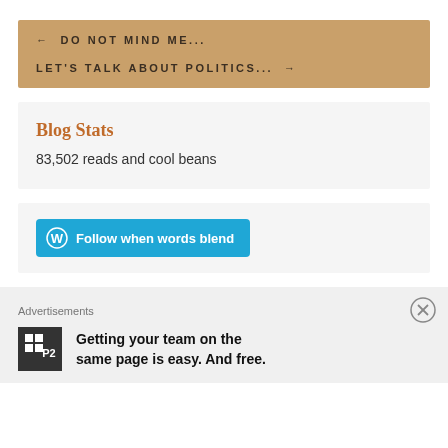← DO NOT MIND ME...
LET'S TALK ABOUT POLITICS... →
Blog Stats
83,502 reads and cool beans
[Figure (other): Follow button: WordPress icon with text 'Follow when words blend' on teal/blue background]
Advertisements
[Figure (other): P2 advertisement: P2 logo with text 'Getting your team on the same page is easy. And free.']